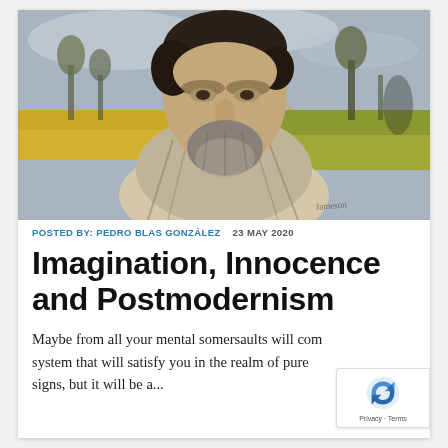[Figure (illustration): A painted portrait of a bearded man with dark hair, set against a landscape background with yellow fields and trees.]
POSTED BY: PEDRO BLAS GONZÁLEZ   23 MAY 2020
Imagination, Innocence and Postmodernism
Maybe from all your mental somersaults will come a system that will satisfy you in the realm of pure signs, but it will be a...